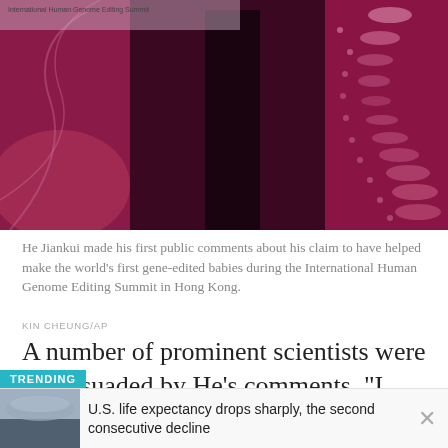[Figure (photo): He Jiankui at the International Human Genome Editing Summit in Hong Kong. Burgundy/magenta backdrop with DNA helix graphic. Person standing at podium silhouetted in center.]
He Jiankui made his first public comments about his claim to have helped make the world’s first gene-edited babies during the International Human Genome Editing Summit in Hong Kong.
KIN CHEUNG/AP
A number of prominent scientists were unpersuaded by He’s comments. “I don’t think this has been a transparent process,” said David Baltimore of the California Institute of Technology and chair of the summit organizing
TRENDING
U.S. life expectancy drops sharply, the second consecutive decline